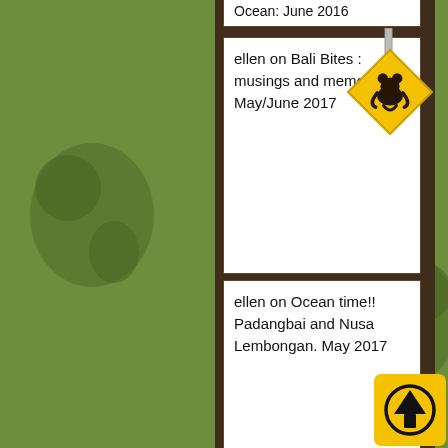Ocean: June 2016
ellen on Bali Bites : musings and memories. May/June 2017
ellen on Ocean time!! Padangbai and Nusa Lembongan. May 2017
Twitter outputted an error: Invalid or expired token..
Archives
July 2022
June 2022